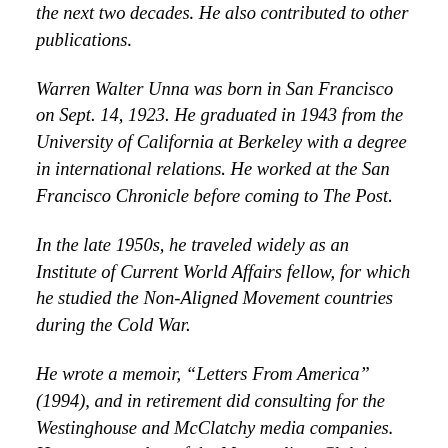the next two decades. He also contributed to other publications.
Warren Walter Unna was born in San Francisco on Sept. 14, 1923. He graduated in 1943 from the University of California at Berkeley with a degree in international relations. He worked at the San Francisco Chronicle before coming to The Post.
In the late 1950s, he traveled widely as an Institute of Current World Affairs fellow, for which he studied the Non-Aligned Movement countries during the Cold War.
He wrote a memoir, “Letters From America” (1994), and in retirement did consulting for the Westinghouse and McClatchy media companies. He was a member of the Metropolitan Club in Washington.